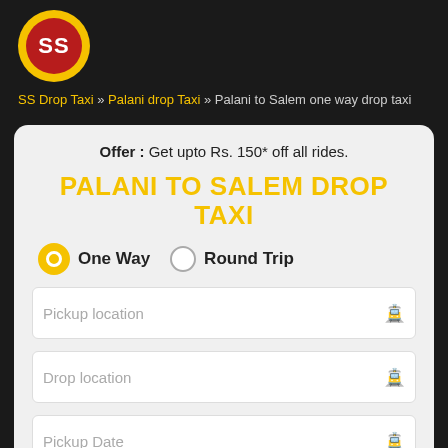[Figure (logo): SS Drop Taxi logo: yellow circle with dark red inner circle containing white bold text 'SS']
SS Drop Taxi » Palani drop Taxi » Palani to Salem one way drop taxi
Offer : Get upto Rs. 150* off all rides.
PALANI TO SALEM DROP TAXI
One Way    Round Trip
Pickup location
Drop location
Pickup Date